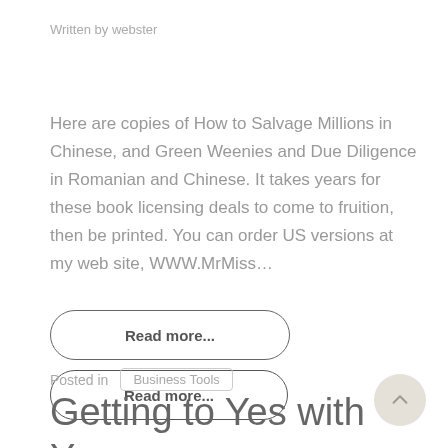Written by webster
Here are copies of How to Salvage Millions in Chinese, and Green Weenies and Due Diligence in Romanian and Chinese. It takes years for these book licensing deals to come to fruition, then be printed. You can order US versions at my web site, WWW.MrMiss…
Read more...
Posted in   Business Tools
Getting to Yes with Your